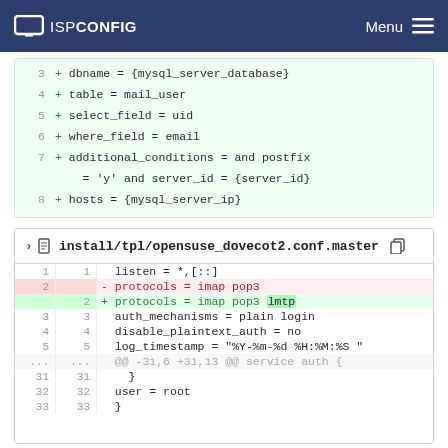ISPConfig  Menu
3  + dbname = {mysql_server_database}
4  + table = mail_user
5  + select_field = uid
6  + where_field = email
7  + additional_conditions = and postfix = 'y' and server_id = {server_id}
8  + hosts = {mysql_server_ip}
install/tpl/opensuse_dovecot2.conf.master
1  1  listen = *,[::]
2     - protocols = imap pop3
   2  + protocols = imap pop3 lmtp
3  3  auth_mechanisms = plain login
4  4  disable_plaintext_auth = no
5  5  log_timestamp = "%Y-%m-%d %H:%M:%S "
...  ...  @@ -31,6 +31,13 @@ service auth {
31 31     }
32 32  user = root
33 33  }